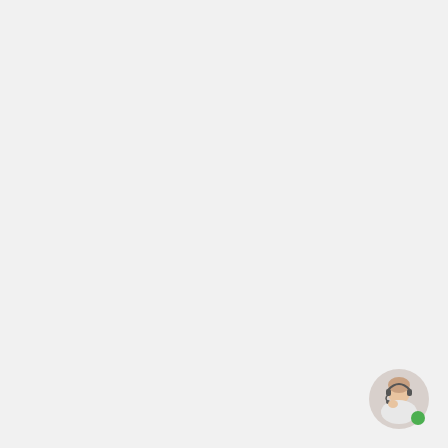Forex Withdrawal Problems?
[Figure (illustration): Small circular avatar of a woman wearing a headset, with a green circle element in the bottom right of the avatar, suggesting a customer support representative.]